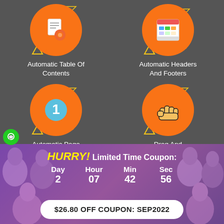[Figure (infographic): Orange circle icon with document and gear symbols representing Automatic Table Of Contents feature]
Automatic Table Of Contents
[Figure (infographic): Orange circle icon with browser/spreadsheet window representing Automatic Headers And Footers feature]
Automatic Headers And Footers
[Figure (infographic): Orange circle icon with number 1 badge representing Automatic Page Numbering feature]
Automatic Page Numbering
[Figure (infographic): Orange circle icon with hand/pointer representing Drag And Drop Design feature]
Drag And Drop Design
HURRY! Limited Time Coupon:
Day 2  Hour 07  Min 42  Sec 56
$26.80 OFF COUPON: SEP2022